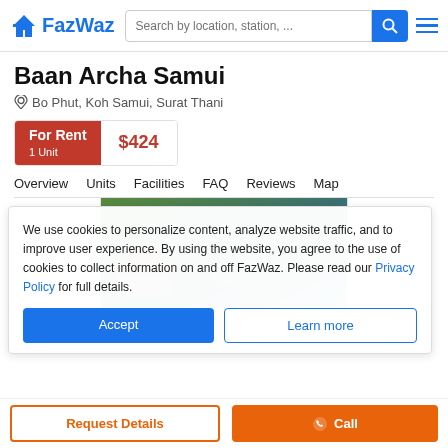FazWaz — Search by location, station, ...
Baan Archa Samui
Bo Phut, Koh Samui, Surat Thani
For Rent 1 Unit $424
Overview  Units  Facilities  FAQ  Reviews  Map
We use cookies to personalize content, analyze website traffic, and to improve user experience. By using the website, you agree to the use of cookies to collect information on and off FazWaz. Please read our Privacy Policy for full details.
Accept  Learn more
Request Details   Call